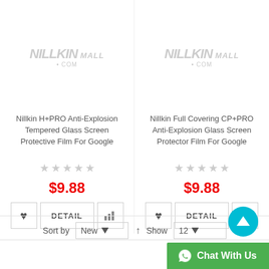[Figure (screenshot): Nillkin Mall logo watermark (grey) repeated twice, one per product card]
Nillkin H+PRO Anti-Explosion Tempered Glass Screen Protective Film For Google
Nillkin Full Covering CP+PRO Anti-Explosion Glass Screen Protector Film For Google
$9.88
$9.88
DETAIL
DETAIL
Sort by
New
Show
12
Chat With Us